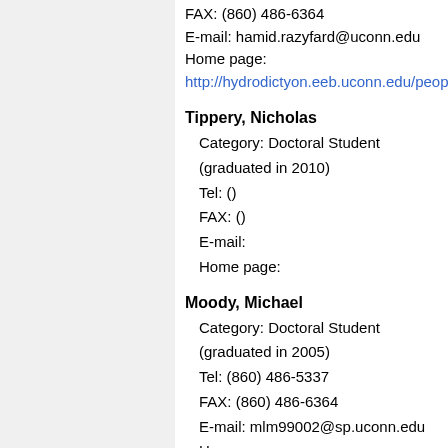FAX: (860) 486-6364
E-mail: hamid.razyfard@uconn.edu
Home page:
http://hydrodictyon.eeb.uconn.edu/peopl
Tippery, Nicholas
Category: Doctoral Student (graduated in 2010)
Tel: ()
FAX: ()
E-mail:
Home page:
Moody, Michael
Category: Doctoral Student (graduated in 2005)
Tel: (860) 486-5337
FAX: (860) 486-6364
E-mail: mlm99002@sp.uconn.edu
Home page: